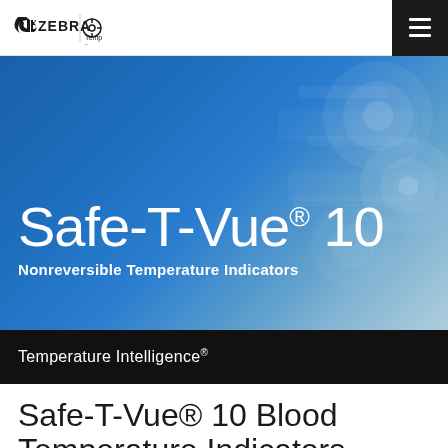ZEBRA | Temptime — Now a part of Zebra Technologies
[Figure (photo): Hero banner image showing Safe-T-Vue 10 Nonreversible Temperature Indicators product labels and circular indicator discs on a blue background]
Safe-T-Vue® 10
Nonreversible Temperature Indicators
Temperature Intelligence®
Safe-T-Vue® 10 Blood Temperature Indicators